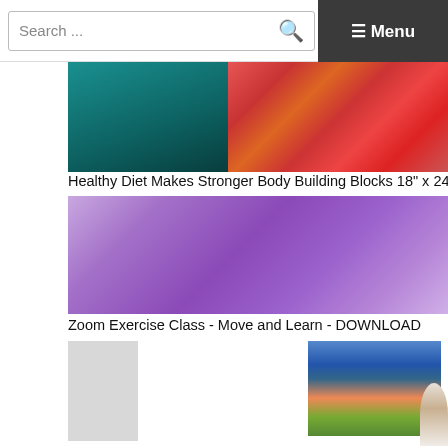Search ... ☰ Menu
[Figure (photo): Partial view of food/fruit image including green teal background on left and colorful fruits (watermelon, berries) on right]
Healthy Diet Makes Stronger Body Building Blocks 18" x 24" Laminated
[Figure (photo): Purple gradient background image for Zoom Exercise Class]
Zoom Exercise Class - Move and Learn - DOWNLOAD
[Figure (photo): Gray thumbnail placeholder on left; person holding vegetables/groceries image on right; partial second image cut off]
2020-2025 Dietary Guidelines PowerPoint Show and Handout Set - DOW